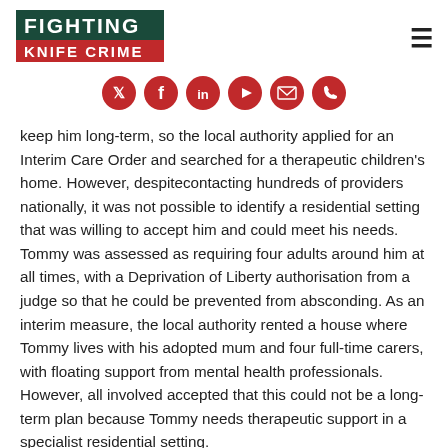[Figure (logo): Fighting Knife Crime logo — dark green background with white text 'FIGHTING' and red bar with white text 'KNIFE CRIME']
[Figure (infographic): Row of six red circular social media icons: Twitter/X, Facebook, LinkedIn, YouTube, Email, Phone]
keep him long-term, so the local authority applied for an Interim Care Order and searched for a therapeutic children's home. However, despitecontacting hundreds of providers nationally, it was not possible to identify a residential setting that was willing to accept him and could meet his needs. Tommy was assessed as requiring four adults around him at all times, with a Deprivation of Liberty authorisation from a judge so that he could be prevented from absconding. As an interim measure, the local authority rented a house where Tommy lives with his adopted mum and four full-time carers, with floating support from mental health professionals. However, all involved accepted that this could not be a long-term plan because Tommy needs therapeutic support in a specialist residential setting.